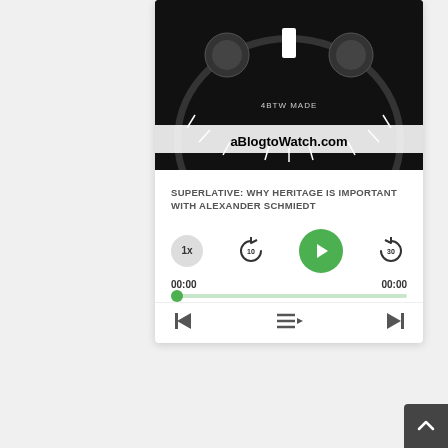[Figure (photo): Podcast player card showing a watch dial image with 'aBlogtoWatch.com' text, playback controls, time display 00:00/00:00, progress bar, and navigation buttons]
SUPERLATIVE: WHY HERITAGE IS IMPORTANT WITH ALEXANDER SCHMIEDT